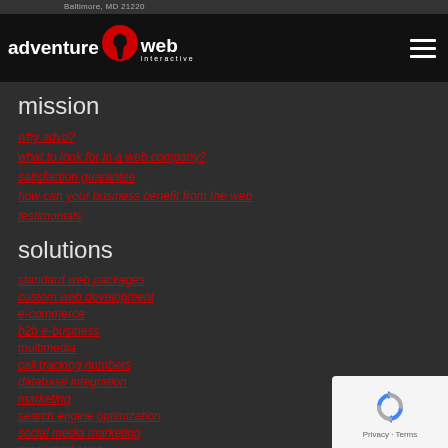Baltimore, MD 21220
[Figure (logo): Adventure Web Interactive logo with red keyhole icon on black background header bar]
mission
why advp?
what to look for in a web company?
satisfaction guarantee
how can your business benefit from the web
testimonials
solutions
standard web packages
custom web development
e-commerce
b2b e-business
multimedia
call tracking numbers
database integration
marketing
search engine optimization
social media marketing
email marketing
[Figure (logo): Google reCAPTCHA badge with Privacy and Terms text]